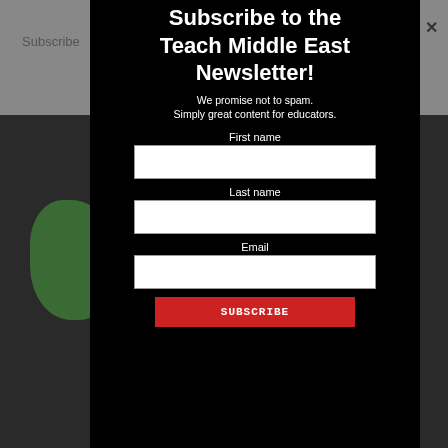Subscribe
Subscribe to the Teach Middle East Newsletter!
We promise not to spam. Simply great content for educators.
First name
Last name
Email
SUBSCRIBE